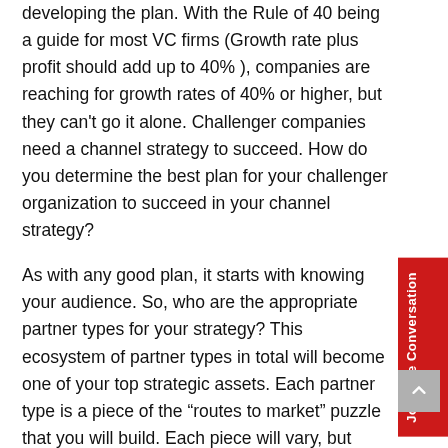developing the plan. With the Rule of 40 being a guide for most VC firms (Growth rate plus profit should add up to 40% ), companies are reaching for growth rates of 40% or higher, but they can't go it alone. Challenger companies need a channel strategy to succeed. How do you determine the best plan for your challenger organization to succeed in your channel strategy?
As with any good plan, it starts with knowing your audience. So, who are the appropriate partner types for your strategy? This ecosystem of partner types in total will become one of your top strategic assets. Each partner type is a piece of the "routes to market" puzzle that you will build. Each piece will vary, but ultimately each will need to be connected in your plan in order to complete the puzzle effectively. Determine the needs of the individual partner types,